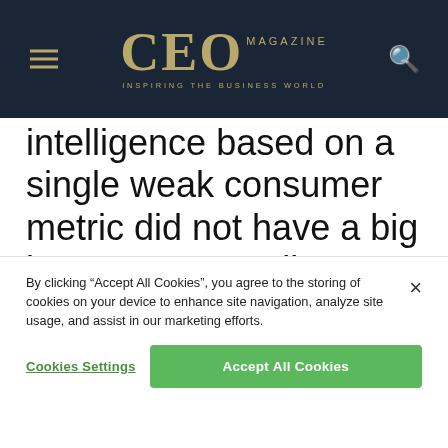CEO MAGAZINE – INSPIRING THE BUSINESS WORLD
intelligence based on a single weak consumer metric did not have a big impact on overall company performance. The benefit of a growth economy is that it can hide and forgive poor management and useless consumer metrics. A recession economy fires a blowtorch on these things.
By clicking “Accept All Cookies”, you agree to the storing of cookies on your device to enhance site navigation, analyze site usage, and assist in our marketing efforts.
Cookies Settings
Accept All Cookies